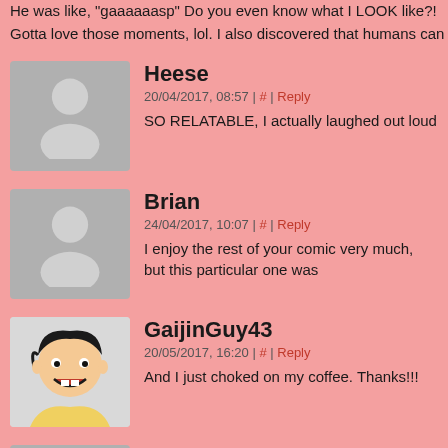He was like, "gaaaaaasp" Do you even know what I LOOK like?! Gotta love those moments, lol. I also discovered that humans can s
Heese
20/04/2017, 08:57 | # | Reply
SO RELATABLE, I actually laughed out loud
Brian
24/04/2017, 10:07 | # | Reply
I enjoy the rest of your comic very much, but this particular one was
GaijinGuy43
20/05/2017, 16:20 | # | Reply
And I just choked on my coffee. Thanks!!!
Vida
31/05/2017, 18:22 | # | Reply
!!!!!!!
Crystal
29/10/2017, 05:19 | # | Reply